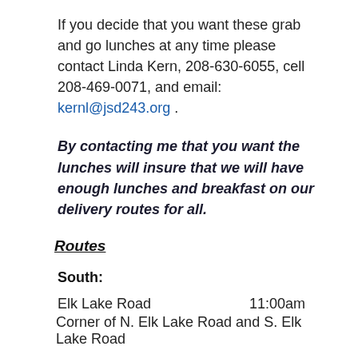If you decide that you want these grab and go lunches at any time please contact Linda Kern, 208-630-6055, cell 208-469-0071, and email: kernl@jsd243.org .
By contacting me that you want the lunches will insure that we will have enough lunches and breakfast on our delivery routes for all.
Routes
South:
Elk Lake Road    11:00am
Corner of N. Elk Lake Road and S. Elk Lake Road